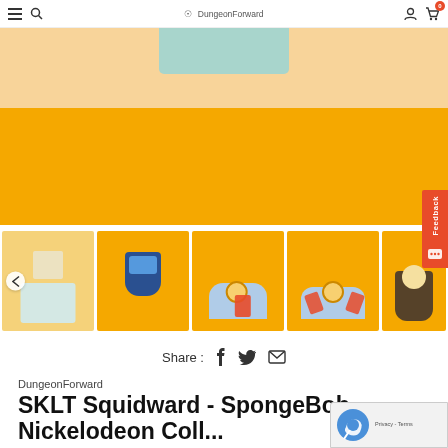DungeonForward — navigation bar with menu, search, account, cart icons
[Figure (photo): Hero product image on yellow/orange background showing a teal card with DungeonForward logo, partially cropped at top]
[Figure (photo): Row of 5 product thumbnail images on yellow/orange background showing enamel pin products (Squidward SpongeBob themed caps/characters)]
Share : (Facebook) (Twitter) (Email)
DungeonForward
SKLT Squidward - SpongeBob Nickelodeon Coll...